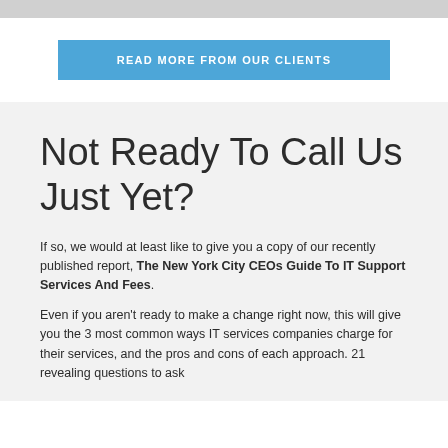READ MORE FROM OUR CLIENTS
Not Ready To Call Us Just Yet?
If so, we would at least like to give you a copy of our recently published report, The New York City CEOs Guide To IT Support Services And Fees.
Even if you aren't ready to make a change right now, this will give you the 3 most common ways IT services companies charge for their services, and the pros and cons of each approach. 21 revealing questions to ask